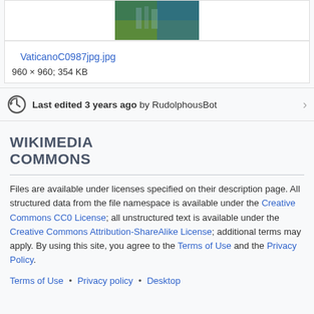[Figure (photo): Partial view of a photo showing green vegetation and blue water/sky, top portion of VaticanoC0987jpg.jpg]
VaticanoC0987jpg.jpg
960 × 960; 354 KB
Last edited 3 years ago by RudolphousBot
WIKIMEDIA COMMONS
Files are available under licenses specified on their description page. All structured data from the file namespace is available under the Creative Commons CC0 License; all unstructured text is available under the Creative Commons Attribution-ShareAlike License; additional terms may apply. By using this site, you agree to the Terms of Use and the Privacy Policy.
Terms of Use • Privacy policy • Desktop